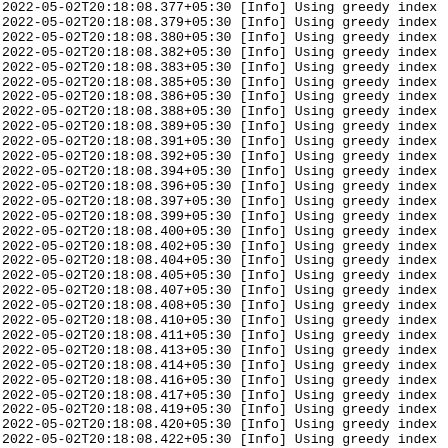2022-05-02T20:18:08.377+05:30 [Info] Using greedy index
2022-05-02T20:18:08.379+05:30 [Info] Using greedy index
2022-05-02T20:18:08.380+05:30 [Info] Using greedy index
2022-05-02T20:18:08.382+05:30 [Info] Using greedy index
2022-05-02T20:18:08.383+05:30 [Info] Using greedy index
2022-05-02T20:18:08.385+05:30 [Info] Using greedy index
2022-05-02T20:18:08.386+05:30 [Info] Using greedy index
2022-05-02T20:18:08.388+05:30 [Info] Using greedy index
2022-05-02T20:18:08.389+05:30 [Info] Using greedy index
2022-05-02T20:18:08.391+05:30 [Info] Using greedy index
2022-05-02T20:18:08.392+05:30 [Info] Using greedy index
2022-05-02T20:18:08.394+05:30 [Info] Using greedy index
2022-05-02T20:18:08.396+05:30 [Info] Using greedy index
2022-05-02T20:18:08.397+05:30 [Info] Using greedy index
2022-05-02T20:18:08.399+05:30 [Info] Using greedy index
2022-05-02T20:18:08.400+05:30 [Info] Using greedy index
2022-05-02T20:18:08.402+05:30 [Info] Using greedy index
2022-05-02T20:18:08.404+05:30 [Info] Using greedy index
2022-05-02T20:18:08.405+05:30 [Info] Using greedy index
2022-05-02T20:18:08.407+05:30 [Info] Using greedy index
2022-05-02T20:18:08.408+05:30 [Info] Using greedy index
2022-05-02T20:18:08.410+05:30 [Info] Using greedy index
2022-05-02T20:18:08.411+05:30 [Info] Using greedy index
2022-05-02T20:18:08.413+05:30 [Info] Using greedy index
2022-05-02T20:18:08.414+05:30 [Info] Using greedy index
2022-05-02T20:18:08.416+05:30 [Info] Using greedy index
2022-05-02T20:18:08.417+05:30 [Info] Using greedy index
2022-05-02T20:18:08.419+05:30 [Info] Using greedy index
2022-05-02T20:18:08.420+05:30 [Info] Using greedy index
2022-05-02T20:18:08.422+05:30 [Info] Using greedy index